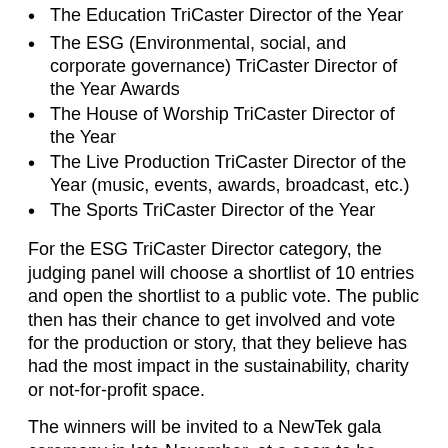The Education TriCaster Director of the Year
The ESG (Environmental, social, and corporate governance) TriCaster Director of the Year Awards
The House of Worship TriCaster Director of the Year
The Live Production TriCaster Director of the Year (music, events, awards, broadcast, etc.)
The Sports TriCaster Director of the Year
For the ESG TriCaster Director category, the judging panel will choose a shortlist of 10 entries and open the shortlist to a public vote. The public then has their chance to get involved and vote for the production or story, that they believe has had the most impact in the sustainability, charity or not-for-profit space.
The winners will be invited to a NewTek gala ceremony in late November, at a soon to be revealed location, where the winners will share in a $100,000 value prize pot. The awards show will also be streamed live on NewTek TV using a TriCaster.